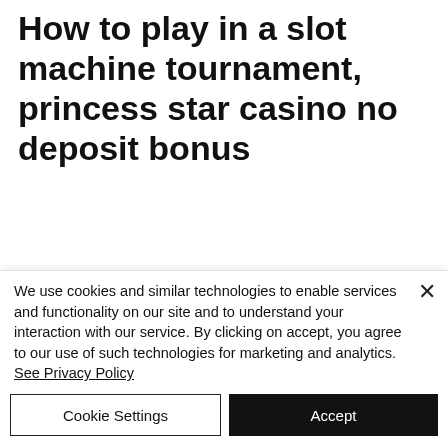How to play in a slot machine tournament, princess star casino no deposit bonus
There is a 30x wagering factor for allowed game, making your wagering requirement $1,500. If you choose play tables games or video poker, the wagering factor is 60x, making your wagering requirement $3,000, jackport party casino free coins. You can
We use cookies and similar technologies to enable services and functionality on our site and to understand your interaction with our service. By clicking on accept, you agree to our use of such technologies for marketing and analytics. See Privacy Policy
Cookie Settings | Accept